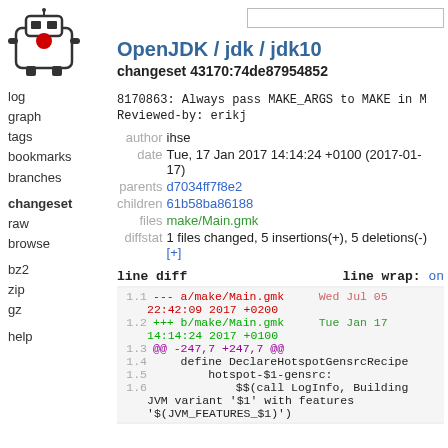[Figure (logo): OpenJDK robot logo — black and white robot with red element]
OpenJDK / jdk / jdk10
changeset 43170:74de87954852
8170863: Always pass MAKE_ARGS to MAKE in M
Reviewed-by: erikj
| field | value |
| --- | --- |
| author | ihse |
| date | Tue, 17 Jan 2017 14:14:24 +0100 (2017-01-17) |
| parents | d7034ff7f8e2 |
| children | 61b58ba86188 |
| files | make/Main.gmk |
| diffstat | 1 files changed, 5 insertions(+), 5 deletions(-)
[+] |
log
graph
tags
bookmarks
branches
changeset
raw
browse
bz2
zip
gz
help
line diff    line wrap: on
1.1  --- a/make/Main.gmk     Wed Jul 05 22:42:09 2017 +0200
1.2  +++ b/make/Main.gmk     Tue Jan 17 14:14:24 2017 +0100
1.3  @@ -247,7 +247,7 @@
1.4      define DeclareHotspotGensrcRecipe
1.5          hotspot-$1-gensrc:
1.6              $$(call LogInfo, Building JVM variant '$1' with features '$(JVM_FEATURES_$1)')